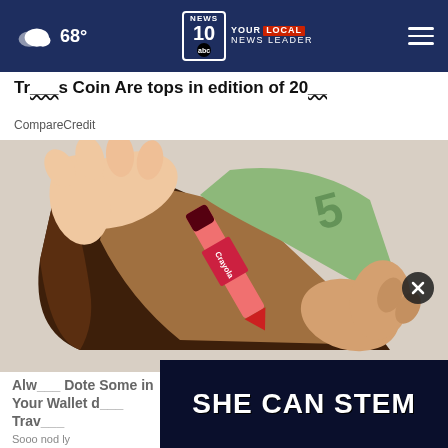68° NEWS 10 YOUR LOCAL NEWS LEADER
Tr___s Coin Are tops in edition of 20__
CompareCredit
[Figure (photo): Hands opening a brown leather wallet containing a red Crayola crayon and what appears to be a banknote.]
Alw___ Dote Some in Your Wallet d___ Trav___
Sooo nod ly
[Figure (infographic): Dark blue advertising banner reading SHE CAN STEM]